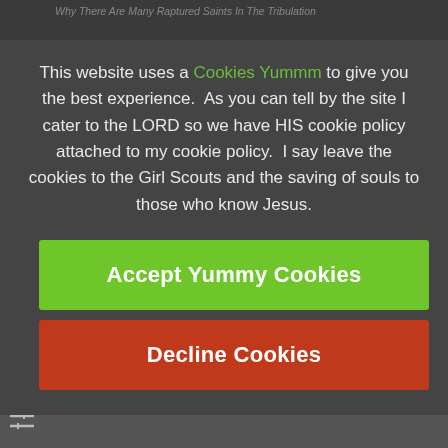Why There Are Many Raptured Saints In The Tribulation
This website uses a Cookies Yummm to give you the best experience.  As you can tell by the site I cater to the LORD so we have HIS cookie policy attached to my cookie policy.  I say leave the cookies to the Girl Scouts and the saving of souls to those who know Jesus.
Accept Yummy Cookies
Decline Cookies
1.  Business Card Evangelism
The card is linked to the many raptures that will only people to see the hour we are in.  Soulwinning is what we are to be about.